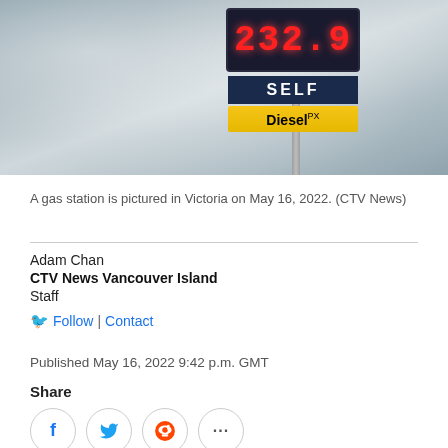[Figure (photo): A gas station price sign showing 232.9 for Diesel PX (Self), against a cloudy sky background.]
A gas station is pictured in Victoria on May 16, 2022. (CTV News)
Adam Chan
CTV News Vancouver Island
Staff
Follow | Contact
Published May 16, 2022 9:42 p.m. GMT
Share